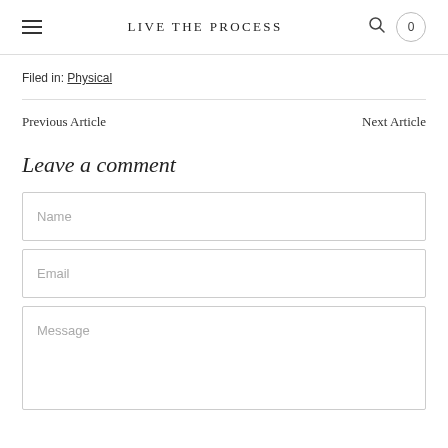LIVE THE PROCESS
Filed in: Physical
Previous Article    Next Article
Leave a comment
Name
Email
Message